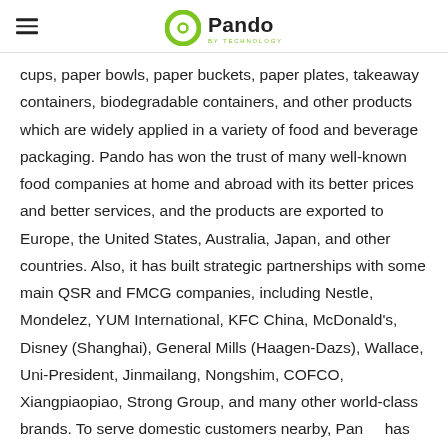Pando BY TECHNOLOGY
cups, paper bowls, paper buckets, paper plates, takeaway containers, biodegradable containers, and other products which are widely applied in a variety of food and beverage packaging. Pando has won the trust of many well-known food companies at home and abroad with its better prices and better services, and the products are exported to Europe, the United States, Australia, Japan, and other countries. Also, it has built strategic partnerships with some main QSR and FMCG companies, including Nestle, Mondelez, YUM International, KFC China, McDonald's, Disney (Shanghai), General Mills (Haagen-Dazs), Wallace, Uni-President, Jinmailang, Nongshim, COFCO, Xiangpiaopiao, Strong Group, and many other world-class brands. To serve domestic customers nearby, Pando has set up six paper food packaging manufacturers, located respectively in Haining (headquarter), Huzhou, Xingtai, Tianchang, Chengdu, and Dongguan, and its annual production capacity